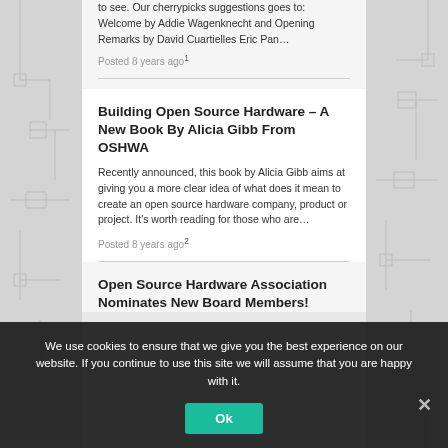to see. Our cherrypicks suggestions goes to: Welcome by Addie Wagenknecht and Opening Remarks by David Cuartielles Eric Pan…
Posted 8 years ago1
Building Open Source Hardware – A New Book By Alicia Gibb From OSHWA
Recently announced, this book by Alicia Gibb aims at giving you a more clear idea of what does it mean to create an open source hardware company, product or project. It's worth reading for those who are…
Posted 8 years ago2
Open Source Hardware Association Nominates New Board Members!
We use cookies to ensure that we give you the best experience on our website. If you continue to use this site we will assume that you are happy with it.